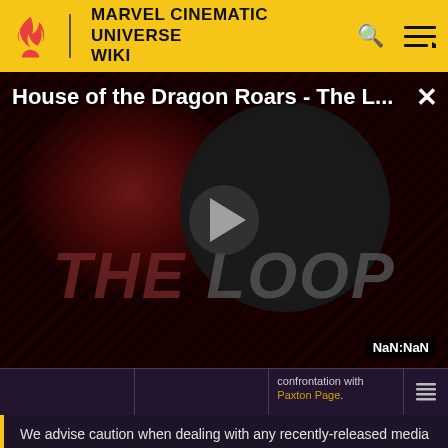MARVEL CINEMATIC UNIVERSE WIKI
[Figure (screenshot): Video player showing 'House of the Dragon Roars - The L...' with The Loop logo thumbnail, diagonal stripe background, play button in center. Timestamp shows NaN:NaN.]
confrontation with Paxton Page.
We advise caution when dealing with any recently-released media involving multiversal subjects. Please do not make assumptions regarding confusing wording, other sites' speculation, and people's headcanon around the internet.